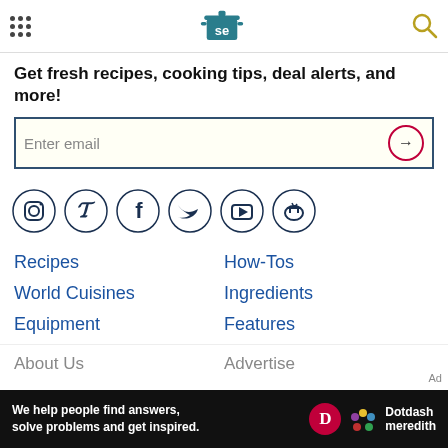Serious Eats logo, navigation, search
Get fresh recipes, cooking tips, deal alerts, and more!
Enter email
[Figure (infographic): Social media icons row: Instagram, Pinterest, Facebook, Twitter, YouTube, and one more (cooking/pot icon)]
Recipes
How-Tos
World Cuisines
Ingredients
Equipment
Features
About Us
Advertise
We help people find answers, solve problems and get inspired. Dotdash meredith